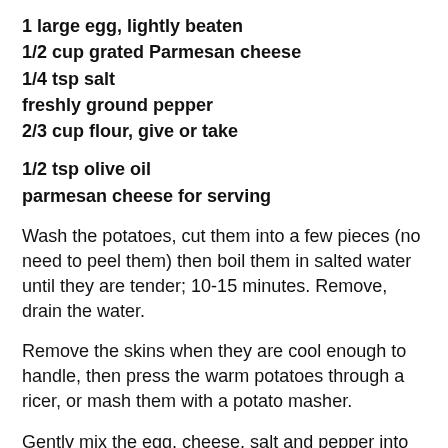1 large egg, lightly beaten
1/2 cup grated Parmesan cheese
1/4 tsp salt
freshly ground pepper
2/3 cup flour, give or take
1/2 tsp olive oil
parmesan cheese for serving
Wash the potatoes, cut them into a few pieces (no need to peel them) then boil them in salted water until they are tender; 10-15 minutes. Remove, drain the water.
Remove the skins when they are cool enough to handle, then press the warm potatoes through a ricer, or mash them with a potato masher.
Gently mix the egg, cheese, salt and pepper into the potatoes, then carefully work in the flour, beginning with 1/2 a cup. Keep adding small amounts of flour until you have a soft smooth dough, trying not to overwork it or to get too much flour into the mixture (otherwise the gnocchi might be